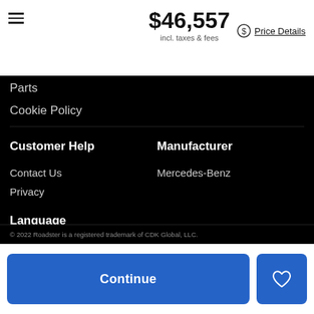$46,557 incl. taxes & fees  Price Details
Parts
Cookie Policy
Customer Help
Contact Us
Privacy
Manufacturer
Mercedes-Benz
Language
English
© 2022 Roadster is a registered trademark of CDK Global, LLC.
Continue